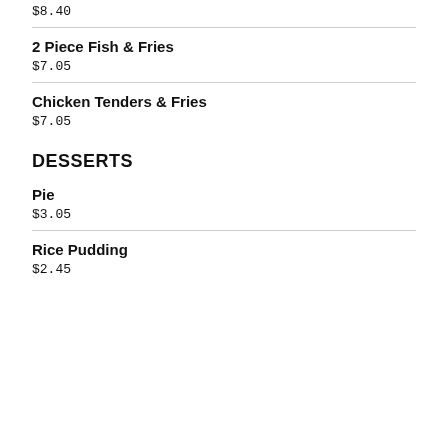$8.40
2 Piece Fish & Fries
$7.05
Chicken Tenders & Fries
$7.05
DESSERTS
Pie
$3.05
Rice Pudding
$2.45